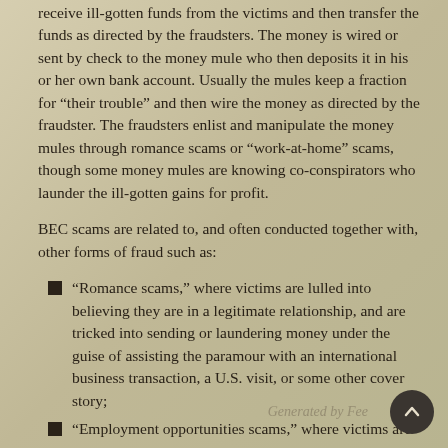receive ill-gotten funds from the victims and then transfer the funds as directed by the fraudsters. The money is wired or sent by check to the money mule who then deposits it in his or her own bank account. Usually the mules keep a fraction for “their trouble” and then wire the money as directed by the fraudster. The fraudsters enlist and manipulate the money mules through romance scams or “work-at-home” scams, though some money mules are knowing co-conspirators who launder the ill-gotten gains for profit.
BEC scams are related to, and often conducted together with, other forms of fraud such as:
“Romance scams,” where victims are lulled into believing they are in a legitimate relationship, and are tricked into sending or laundering money under the guise of assisting the paramour with an international business transaction, a U.S. visit, or some other cover story;
“Employment opportunities scams,” where victims are